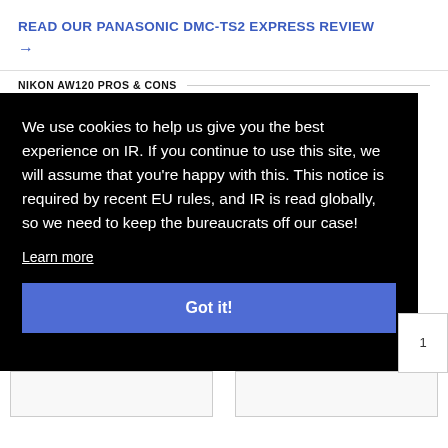READ OUR PANASONIC DMC-TS2 EXPRESS REVIEW →
NIKON AW120 PROS & CONS
We use cookies to help us give you the best experience on IR. If you continue to use this site, we will assume that you're happy with this. This notice is required by recent EU rules, and IR is read globally, so we need to keep the bureaucrats off our case!
Learn more
Got it!